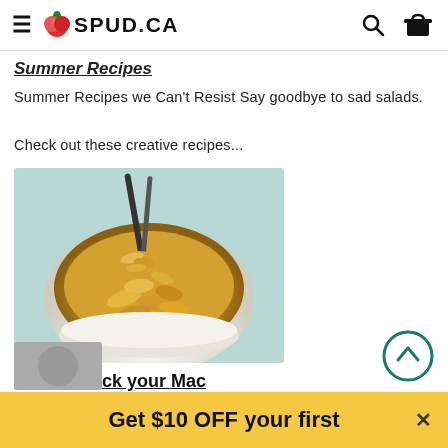SPUD.CA
Summer Recipes
Summer Recipes we Can't Resist Say goodbye to sad salads. Check out these creative recipes...
[Figure (photo): Bowl of macaroni and cheese with a fork lifting a portion]
How to Hack your Mac
Unique Ways to Upgrade Boxed Mac & Cheese The ultimate comfort food, and dinner you...
Get $10 OFF your first